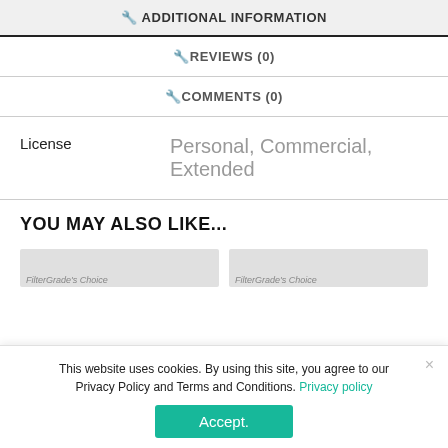🔧 ADDITIONAL INFORMATION
🔧 REVIEWS (0)
🔧 COMMENTS (0)
| License |  |
| --- | --- |
| License | Personal, Commercial, Extended |
YOU MAY ALSO LIKE...
FilterGrade's Choice
FilterGrade's Choice
This website uses cookies. By using this site, you agree to our Privacy Policy and Terms and Conditions. Privacy policy
Accept.